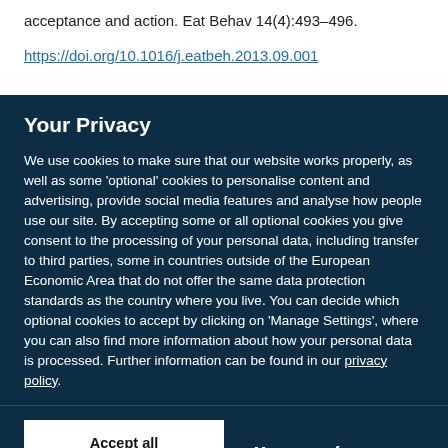acceptance and action. Eat Behav 14(4):493–496.
https://doi.org/10.1016/j.eatbeh.2013.09.001
Your Privacy
We use cookies to make sure that our website works properly, as well as some 'optional' cookies to personalise content and advertising, provide social media features and analyse how people use our site. By accepting some or all optional cookies you give consent to the processing of your personal data, including transfer to third parties, some in countries outside of the European Economic Area that do not offer the same data protection standards as the country where you live. You can decide which optional cookies to accept by clicking on 'Manage Settings', where you can also find more information about how your personal data is processed. Further information can be found in our privacy policy.
Accept all cookies
Manage preferences